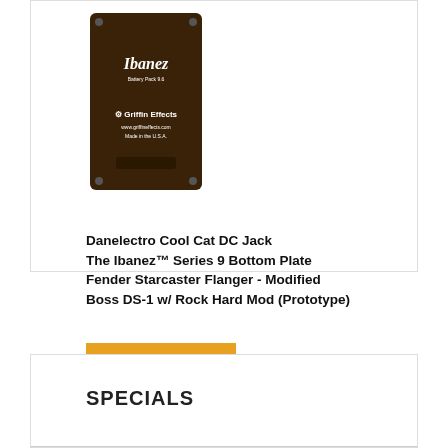[Figure (photo): Dark brown guitar effects pedal (Ibanez Series 9 Bottom Plate) showing back panel with Ibanez and Griffin Effects labels]
Danelectro Cool Cat DC Jack
The Ibanez™ Series 9 Bottom Plate
Fender Starcaster Flanger - Modified
Boss DS-1 w/ Rock Hard Mod (Prototype)
» All new products
SPECIALS